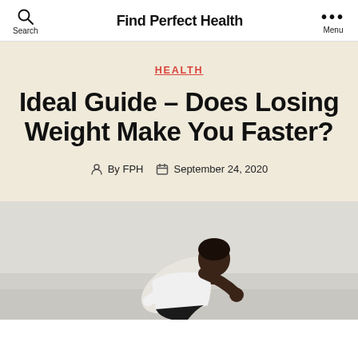Find Perfect Health
HEALTH
Ideal Guide – Does Losing Weight Make You Faster?
By FPH   September 24, 2020
[Figure (photo): A Black male athlete in a starting position, leaning forward as if ready to sprint, wearing a white shirt and dark shorts, photographed from the side against a light background.]